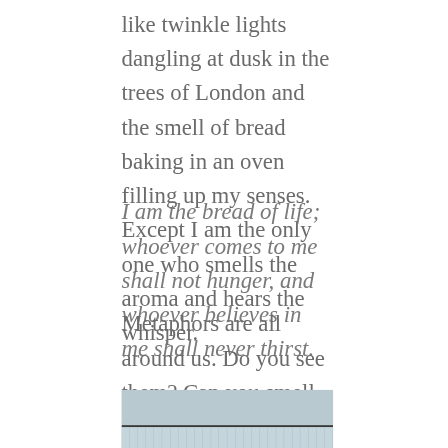like twinkle lights dangling at dusk in the trees of London and the smell of bread baking in an oven filling up my senses. Except I am the only one who smells the aroma and hears the whisper.
I am the bread of life; whoever comes to me shall not hunger, and whoever believes in me shall never thirst.
Metaphors are all around us. Do you see them? Can you smell them? How do they taste?
[Figure (photo): Partial photograph of a building exterior with a light blue-grey wall and a dark horizontal stripe near the bottom, with vertical lines below suggesting windows or panels.]